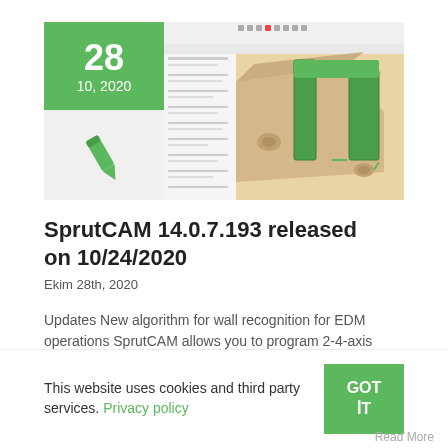[Figure (screenshot): Date block showing '28' and '10, 2020' in green, pen icon below, and a CAM software screenshot showing 3D machining view with green tool paths on a beige part.]
SprutCAM 14.0.7.193 released on 10/24/2020
Ekim 28th, 2020
Updates New algorithm for wall recognition for EDM operations SprutCAM allows you to program 2-4-axis EDM machines. You can read more about the functionality here: Wire EDM Programming In this update, we have
This website uses cookies and third party services. Privacy policy
Read More